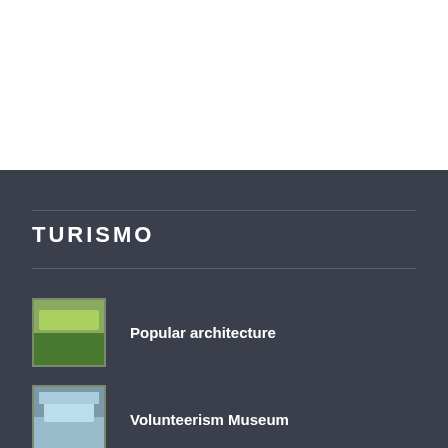TURISMO
Popular architecture
Volunteerism Museum
River Negro promenade
Esta páxina necesita cookies para funcionar. Se segues navegando entendemos que estás de acordo con isto. Aceptar Ler máis